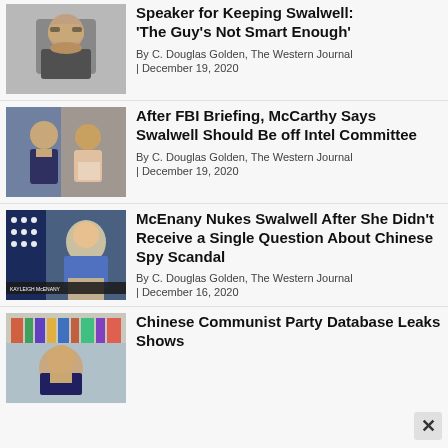[Figure (photo): Man with glasses speaking, gray background]
Speaker for Keeping Swalwell: 'The Guy's Not Smart Enough'
By C. Douglas Golden, The Western Journal
| December 19, 2020
[Figure (photo): Man and woman posing together, woman holding a certificate]
After FBI Briefing, McCarthy Says Swalwell Should Be off Intel Committee
By C. Douglas Golden, The Western Journal
| December 19, 2020
[Figure (photo): Woman at White House press briefing podium, American flag in background, chyron: KAYLEIGH McENANY, White House Press Secretary]
McEnany Nukes Swalwell After She Didn't Receive a Single Question About Chinese Spy Scandal
By C. Douglas Golden, The Western Journal
| December 16, 2020
[Figure (photo): Man in suit standing in front of colorful bookshelf]
Chinese Communist Party Database Leaks Shows...